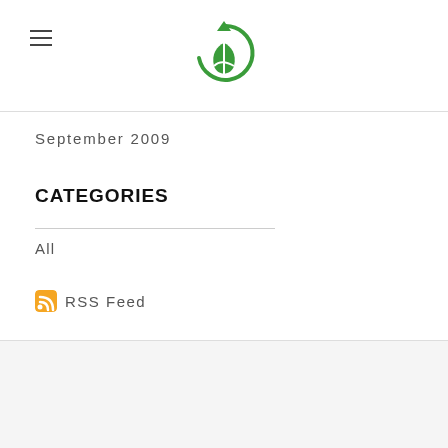Hyderabad GreenAcres logo and navigation
September 2009
CATEGORIES
All
RSS Feed
© 2008 - 2022 Hyderabad GreenAcres. All rights reserved.
About · Contact · FAQ · Blog